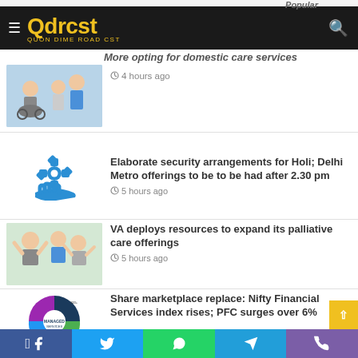Qdrcst - QUON DIME ROAD CST
More opting for domestic care services
4 hours ago
[Figure (illustration): Two elderly people with a nurse/caregiver in blue scrubs]
Elaborate security arrangements for Holi; Delhi Metro offerings to be to be had after 2.30 pm
5 hours ago
[Figure (illustration): Blue gear/cog icon and a blue hand holding icon]
VA deploys resources to expand its palliative care offerings
5 hours ago
[Figure (photo): Elderly people and caregiver smiling with hands raised]
Share marketplace replace: Nifty Financial Services index rises; PFC surges over 6%
[Figure (illustration): Managed services pie/donut chart infographic]
Facebook | Twitter | WhatsApp | Telegram | Phone